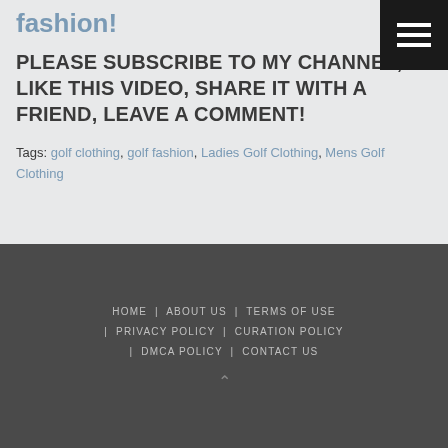Chip Up Jordan – All the greats have lost in dramatic fashion!
PLEASE SUBSCRIBE TO MY CHANNEL, LIKE THIS VIDEO, SHARE IT WITH A FRIEND, LEAVE A COMMENT!
Tags: golf clothing, golf fashion, Ladies Golf Clothing, Mens Golf Clothing
HOME | ABOUT US | TERMS OF USE | PRIVACY POLICY | CURATION POLICY | DMCA POLICY | CONTACT US